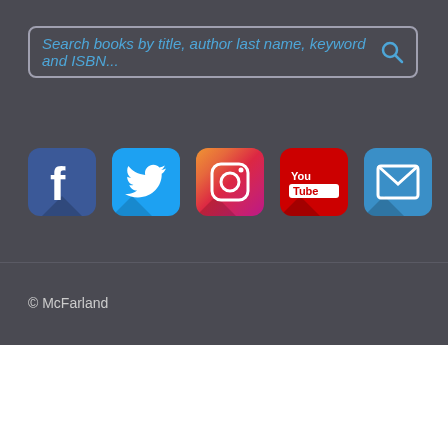[Figure (screenshot): Search bar with placeholder text 'Search books by title, author last name, keyword and ISBN...' and a magnifying glass icon]
[Figure (infographic): Five social media icon buttons: Facebook, Twitter, Instagram, YouTube, and Email/newsletter]
© McFarland
[Figure (infographic): Bottom navigation bar with user/account icon, search icon, and shopping cart icon with badge showing 0]